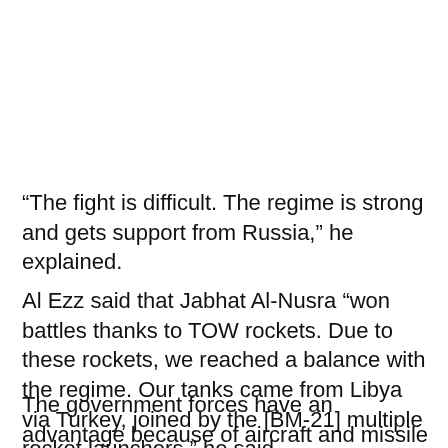“The fight is difficult. The regime is strong and gets support from Russia,” he explained.
Al Ezz said that Jabhat Al-Nusra “won battles thanks to TOW rockets. Due to these rockets, we reached a balance with the regime. Our tanks came from Libya via Turkey, joined by the [BM-21] multiple rocket launchers,” he said.
The government forces have an advantage because of aircraft and missile launchers, but “we have the American-made TOW missiles, and the